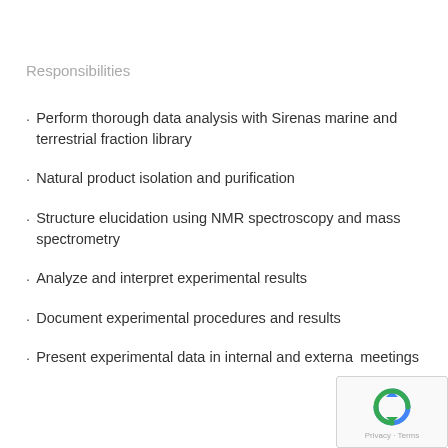Responsibilities
Perform thorough data analysis with Sirenas marine and terrestrial fraction library
Natural product isolation and purification
Structure elucidation using NMR spectroscopy and mass spectrometry
Analyze and interpret experimental results
Document experimental procedures and results
Present experimental data in internal and external meetings